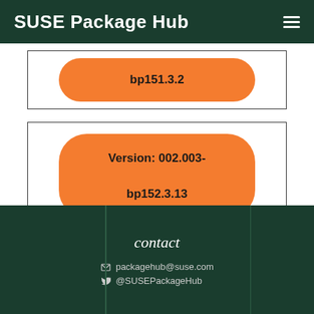SUSE Package Hub
[Figure (other): Orange pill/badge showing version text: bp151.3.2 inside a bordered card]
[Figure (other): Orange pill/badge showing version text: Version: 002.003- bp152.3.13 inside a bordered card]
contact
packagehub@suse.com
@SUSEPackageHub